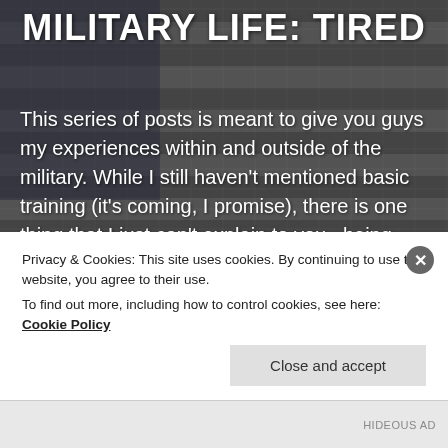[Figure (photo): Black and white photograph of an American flag as background, dimmed/dark tones]
MILITARY LIFE: TIRED
This series of posts is meant to give you guys my experiences within and outside of the military. While I still haven't mentioned basic training (it's coming, I promise), there is one thing that I just can't explain to you...being tired. Ever since I got out of the Army, I have had less and less [...]
Read More
Privacy & Cookies: This site uses cookies. By continuing to use this website, you agree to their use.
To find out more, including how to control cookies, see here: Cookie Policy
Close and accept